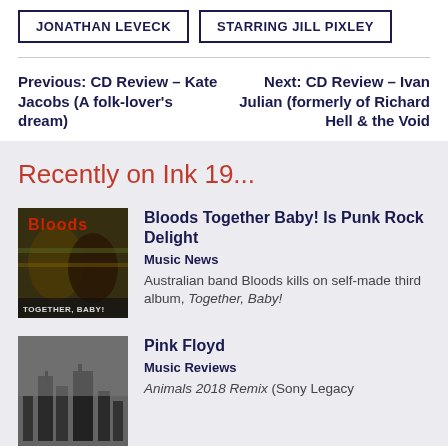JONATHAN LEVECK
STARRING JILL PIXLEY
Previous: CD Review – Kate Jacobs (A folk-lover's dream)
Next: CD Review – Ivan Julian (formerly of Richard Hell & the Void
Recently on Ink 19...
[Figure (photo): Album cover for Bloods Together Baby! showing two people with colorful headwear]
Bloods Together Baby! Is Punk Rock Delight
Music News
Australian band Bloods kills on self-made third album, Together, Baby!
[Figure (photo): Black and white cityscape photo for Pink Floyd Animals 2018 Remix]
Pink Floyd
Music Reviews
Animals 2018 Remix (Sony Legacy